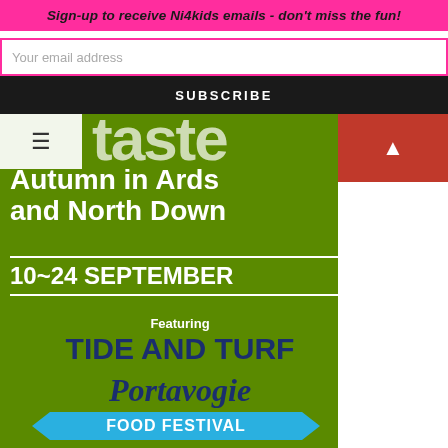Sign-up to receive Ni4kids emails - don't miss the fun!
Your email address
SUBSCRIBE
[Figure (infographic): Green promotional poster for 'Autumn in Ards and North Down' festival, 10~24 September, featuring Tide and Turf Portavogie Food Festival with celebrity chef Theo Randall, SAT 24 SEPT]
Autumn in Ards and North Down
10~24 SEPTEMBER
Featuring
TIDE AND TURF Portavogie
FOOD FESTIVAL
with celebrity chef Theo Randall
SAT 24 SEPT